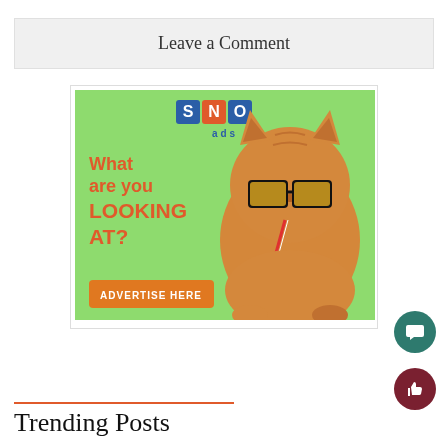Leave a Comment
[Figure (illustration): SNO ads advertisement banner with a cat wearing sunglasses and drinking a tropical drink. Text reads: What are you LOOKING AT? ADVERTISE HERE]
Trending Posts